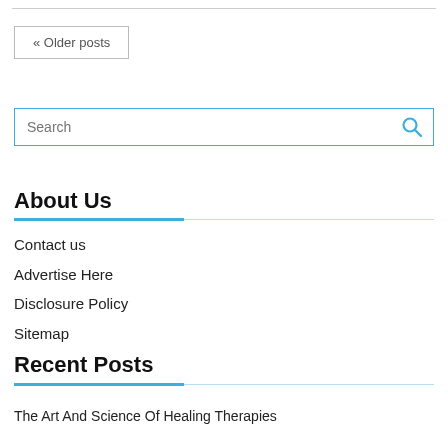« Older posts
Search
About Us
Contact us
Advertise Here
Disclosure Policy
Sitemap
Recent Posts
The Art And Science Of Healing Therapies